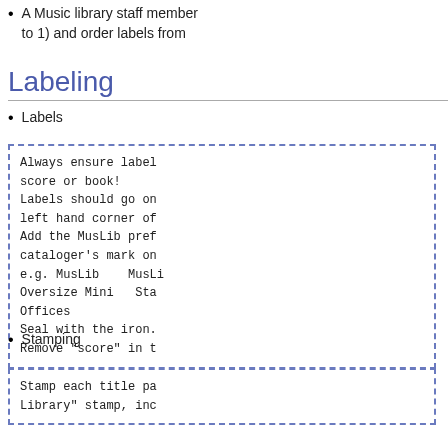A Music library staff member to 1) and order labels from
Labeling
Labels
Always ensure label score or book!
Labels should go on left hand corner of
Add the MusLib pref cataloger's mark on
e.g. MusLib    MusLi
Oversize Mini    Sta
Offices
Seal with the iron.
Remove "score" in t
Stamping
Stamp each title pa Library" stamp, inc